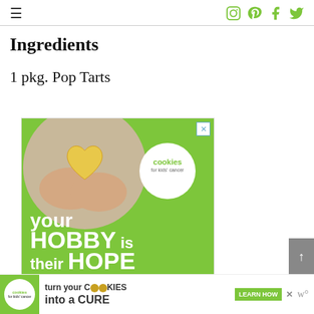≡ [hamburger menu] [social icons: Instagram, Pinterest, Facebook, Twitter]
Ingredients
1 pkg. Pop Tarts
[Figure (photo): Advertisement for Cookies for Kids' Cancer showing hands holding a heart-shaped cookie above a green background with text 'your HOBBY is their HOPE']
[Figure (infographic): Bottom banner ad: cookies for kids' cancer - turn your COOKIES into a CURE LEARN HOW]